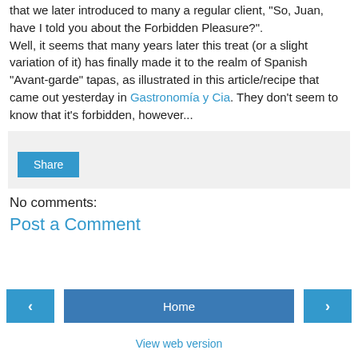that we later introduced to many a regular client, "So, Juan, have I told you about the Forbidden Pleasure?". Well, it seems that many years later this treat (or a slight variation of it) has finally made it to the realm of Spanish "Avant-garde" tapas, as illustrated in this article/recipe that came out yesterday in Gastronomía y Cia. They don't seem to know that it's forbidden, however...
[Figure (screenshot): Share button area with light grey background]
No comments:
Post a Comment
[Figure (screenshot): Navigation row with left arrow button, Home button, and right arrow button]
View web version